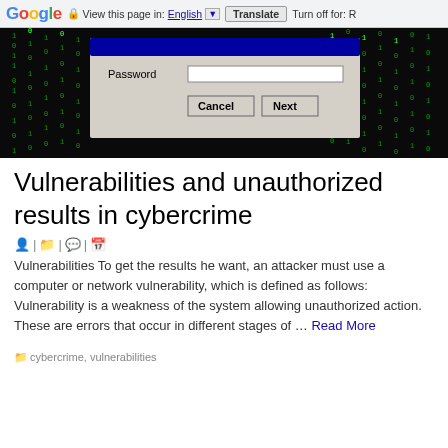Google | View this page in: English [▼] | Translate | Turn off for: R
[Figure (screenshot): Screenshot of a login/password dialog with Matrix-style green code falling in the background. Shows a Password field with Cancel and Next buttons.]
Vulnerabilities and unauthorized results in cybercrime
🧑 | 📁 | 💬| 📅
Vulnerabilities To get the results he want, an attacker must use a computer or network vulnerability, which is defined as follows: Vulnerability is a weakness of the system allowing unauthorized action. These are errors that occur in different stages of … Read More
cybercrime, vulnerabilities